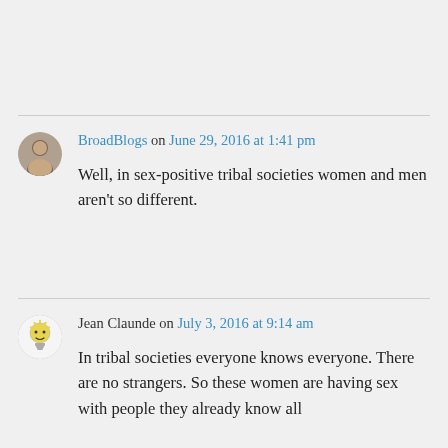BroadBlogs on June 29, 2016 at 1:41 pm
Well, in sex-positive tribal societies women and men aren't so different.
Jean Claunde on July 3, 2016 at 9:14 am
In tribal societies everyone knows everyone. There are no strangers. So these women are having sex with people they already know all